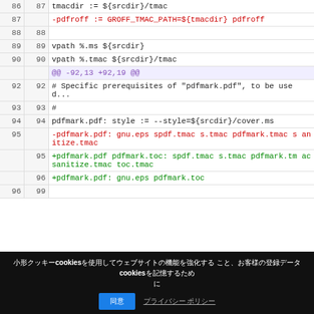86  87  tmacdir := ${srcdir}/tmac
87      -pdfroff := GROFF_TMAC_PATH=${tmacdir} pdfroff
88  88
89  89  vpath %.ms ${srcdir}
90  90  vpath %.tmac ${srcdir}/tmac
    @@ -92,13 +92,19 @@
92  92  # Specific prerequisites of "pdfmark.pdf", to be used...
93  93  #
94  94  pdfmark.pdf: style := --style=${srcdir}/cover.ms
95      -pdfmark.pdf: gnu.eps spdf.tmac s.tmac pdfmark.tmac sanitize.tmac
    95  +pdfmark.pdf pdfmark.toc: spdf.tmac s.tmac pdfmark.tmac sanitize.tmac toc.tmac
    96  +pdfmark.pdf: gnu.eps pdfmark.toc
96  99
[Figure (screenshot): Cookie consent banner overlay at bottom of page with accept button and links]